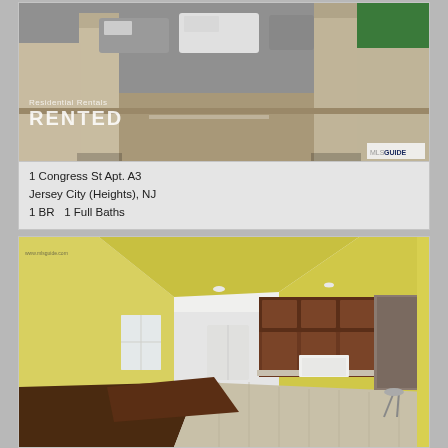[Figure (photo): Exterior photo of residential building entrance with concrete columns, parked cars in background, green fence. Overlaid text reads 'Residential Rentals' and 'RENTED' with MLS GUIDE badge.]
1 Congress St Apt. A3
Jersey City (Heights), NJ
1 BR   1 Full Baths
[Figure (photo): Interior photo of apartment showing open plan living/kitchen area with yellow walls, wood and tile flooring, dark wood kitchen cabinets, white appliances including refrigerator and stove, window with natural light. Watermark: www.mlsguide.com]